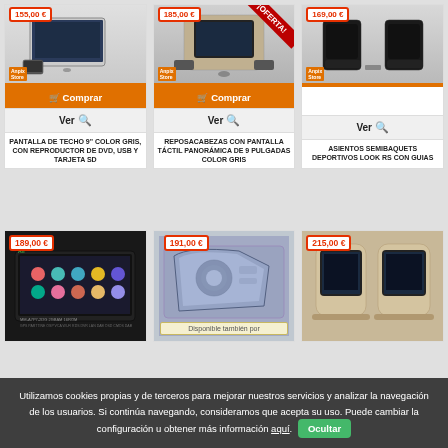[Figure (photo): Pantalla de techo 9 color gris con reproductor DVD USB tarjeta SD - price 155,00€]
[Figure (photo): Reposacabezas con pantalla táctil panorámica de 9 pulgadas color gris - price 185,00€ OFERTA]
[Figure (photo): Asientos semibaquets deportivos look RS con guias - price 169,00€]
Comprar
Comprar
Ver
Ver
Ver
PANTALLA DE TECHO 9" COLOR GRIS, CON REPRODUCTOR DE DVD, USB Y TARJETA SD
REPOSACABEZAS CON PANTALLA TÁCTIL PANORÁMICA DE 9 PULGADAS COLOR GRIS
ASIENTOS SEMIBAQUETS DEPORTIVOS LOOK RS CON GUIAS
[Figure (photo): Radio con pantalla Android - price 189,00€]
[Figure (photo): Faros - price 191,00€ - Disponible también por]
[Figure (photo): Reposacabezas con pantalla - price 215,00€]
Disponible también por
Utilizamos cookies propias y de terceros para mejorar nuestros servicios y analizar la navegación de los usuarios. Si continúa navegando, consideramos que acepta su uso. Puede cambiar la configuración u obtener más información aquí. Ocultar